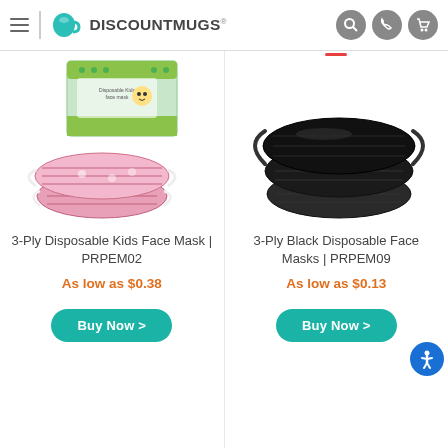DiscountMugs®
[Figure (photo): 3-Ply Disposable Kids Face Mask product photo showing a green box labeled with kids face mask branding and two pink disposable face masks with cartoon character print in front]
3-Ply Disposable Kids Face Mask | PRPEM02
As low as $0.38
[Figure (photo): 3-Ply Black Disposable Face Masks product photo showing a stack of three black disposable face masks with ear loops]
3-Ply Black Disposable Face Masks | PRPEM09
As low as $0.13